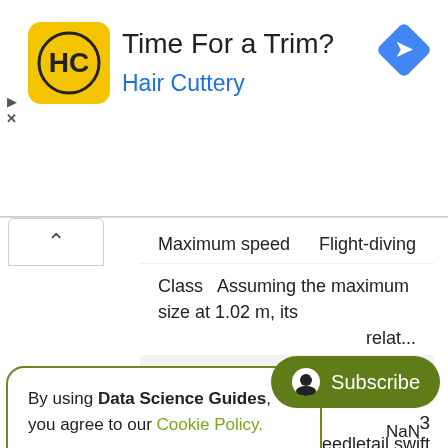[Figure (screenshot): Advertisement banner for Hair Cuttery with yellow logo, title 'Time For a Trim?', subtitle 'Hair Cuttery', and blue navigation arrow icon. Play and dismiss controls on left.]
Maximum speed	Flight-diving
Class   Assuming the maximum size at 1.02 m, its relat...
2
[Figure (screenshot): Cookie consent popup with text: 'By using Data Science Guides, you agree to our Cookie Policy.' and Accept button]
3
ated needletail swift
h (105 mph)[9][10][10]
[Figure (screenshot): Green Subscribe button with panda icon]
Class	NaN